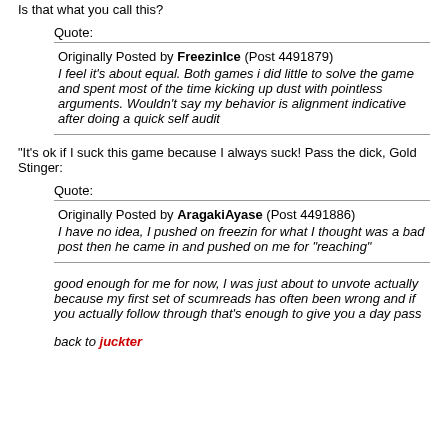Is that what you call this?
Quote:
Originally Posted by FreezinIce (Post 4491879)
I feel it's about equal. Both games i did little to solve the game and spent most of the time kicking up dust with pointless arguments. Wouldn't say my behavior is alignment indicative after doing a quick self audit
"It's ok if I suck this game because I always suck! Pass the dick, Gold Stinger:
Quote:
Originally Posted by AragakiAyase (Post 4491886)
I have no idea, I pushed on freezin for what I thought was a bad post then he came in and pushed on me for "reaching"
good enough for me for now, I was just about to unvote actually because my first set of scumreads has often been wrong and if you actually follow through that's enough to give you a day pass
back to juckter